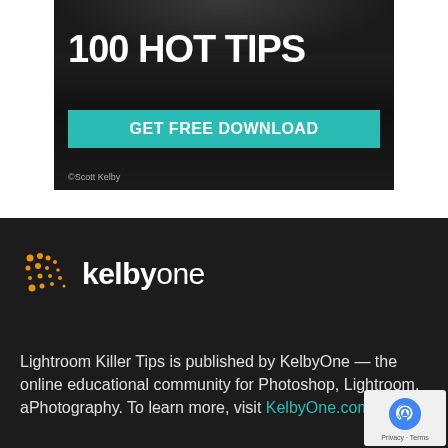[Figure (photo): Advertisement banner with dark background showing '100 HOT TIPS' in large white bold text and a teal 'GET FREE DOWNLOAD' button. Shows '©Scott Kelby' at bottom left.]
[Figure (logo): KelbyOne logo with orange dot pattern on left and 'kelbyone' text in white on dark background]
Lightroom Killer Tips is published by KelbyOne — the online educational community for Photoshop, Lightroom, and Photography. To learn more, visit KelbyOne.com.